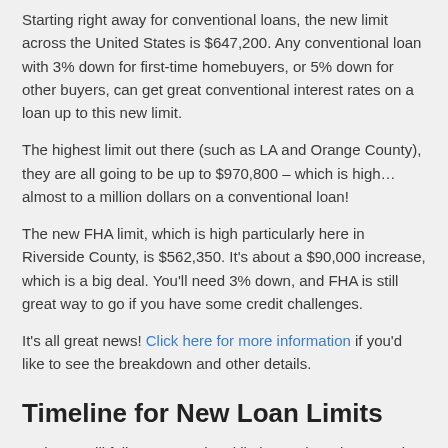Starting right away for conventional loans, the new limit across the United States is $647,200. Any conventional loan with 3% down for first-time homebuyers, or 5% down for other buyers, can get great conventional interest rates on a loan up to this new limit.
The highest limit out there (such as LA and Orange County), they are all going to be up to $970,800 – which is high… almost to a million dollars on a conventional loan!
The new FHA limit, which is high particularly here in Riverside County, is $562,350. It's about a $90,000 increase, which is a big deal. You'll need 3% down, and FHA is still great way to go if you have some credit challenges.
It's all great news! Click here for more information if you'd like to see the breakdown and other details.
Timeline for New Loan Limits
VA loans will follow conventional limits. Both VA loans and FHA loans won't be able to start until next year. So, we'll need to wait until 2022 to take before you can start using the new loan limits.